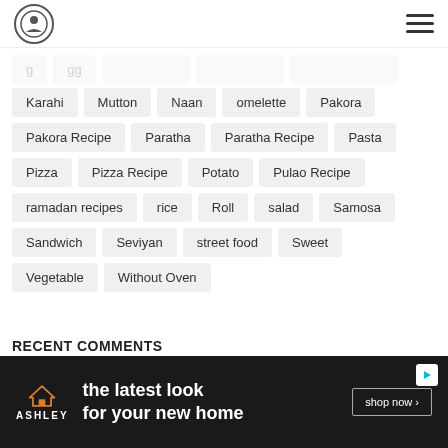[logo] [hamburger menu]
Karahi
Mutton
Naan
omelette
Pakora
Pakora Recipe
Paratha
Paratha Recipe
Pasta
Pizza
Pizza Recipe
Potato
Pulao Recipe
ramadan recipes
rice
Roll
salad
Samosa
Sandwich
Seviyan
street food
Sweet
Vegetable
Without Oven
RECENT COMMENTS
[Figure (screenshot): Ashley Furniture ad banner: orange house icon, ASHLEY logo, 'the latest look for your new home' text, shop now button]